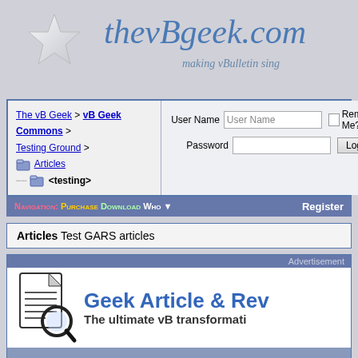[Figure (logo): thevBgeek.com website logo with star icon, italic blue site title and subtitle 'making vBulletin sing']
| The vB Geek > vB Geek Commons > Testing Ground > Articles <testing> | User Name | [User Name input] | [checkbox] Remember Me? | Password | [input] | [Log in button] |
Navigation: Purchase Download Who ▼   Register
Articles Test GARS articles
[Figure (screenshot): Advertisement banner for Geek Article & Review System with document icon, blue title 'Geek Article & Rev...' and subtitle 'The ultimate vB transformati...']
Comment   Page 1 of 3  1  2  3  >  ▼